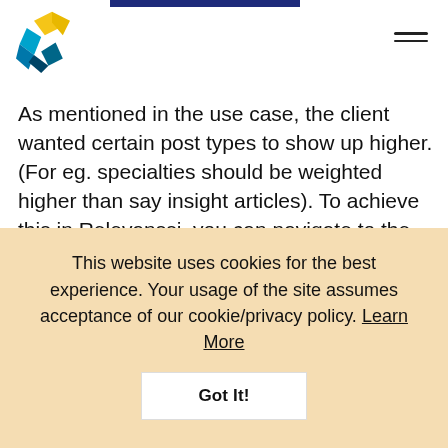As mentioned in the use case, the client wanted certain post types to show up higher. (For eg. specialties should be weighted higher than say insight articles). To achieve this in Relevanssi, you can navigate to the "Searching" tab. Here you will be able to assign weights as required:
[Figure (screenshot): Screenshot of Relevanssi plugin settings page showing the 'Searching' tab with Default operator and Default order fields]
This website uses cookies for the best experience. Your usage of the site assumes acceptance of our cookie/privacy policy. Learn More
Got It!